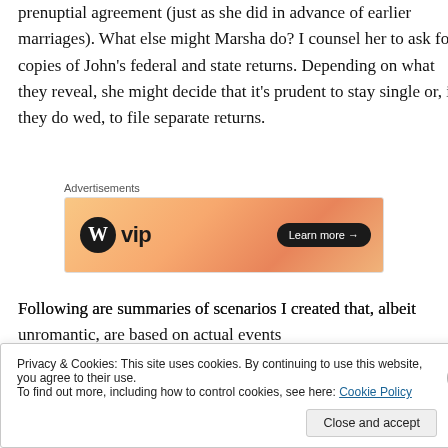prenuptial agreement (just as she did in advance of earlier marriages). What else might Marsha do? I counsel her to ask for copies of John's federal and state returns. Depending on what they reveal, she might decide that it's prudent to stay single or, if they do wed, to file separate returns.
[Figure (other): WordPress VIP advertisement banner with gradient orange background, WordPress logo, 'vip' text, and 'Learn more' button]
Following are summaries of scenarios I created that, albeit unromantic, are based on actual events
Privacy & Cookies: This site uses cookies. By continuing to use this website, you agree to their use.
To find out more, including how to control cookies, see here: Cookie Policy